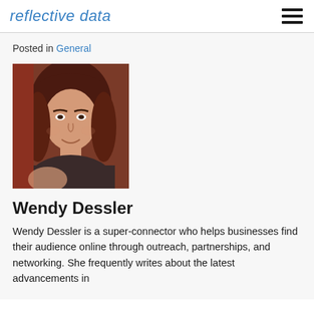reflective data
Posted in General
[Figure (photo): Portrait photo of Wendy Dessler, a young woman with long auburn hair and bangs, smiling, wearing a dark top, photographed indoors.]
Wendy Dessler
Wendy Dessler is a super-connector who helps businesses find their audience online through outreach, partnerships, and networking. She frequently writes about the latest advancements in